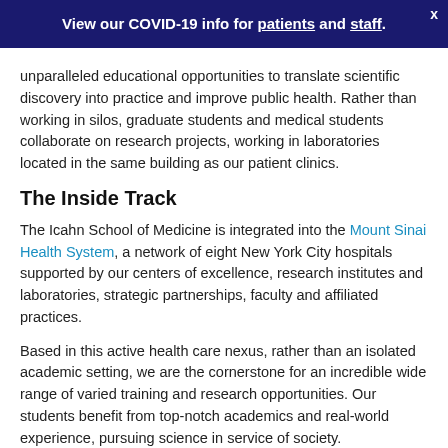View our COVID-19 info for patients and staff.
unparalleled educational opportunities to translate scientific discovery into practice and improve public health. Rather than working in silos, graduate students and medical students collaborate on research projects, working in laboratories located in the same building as our patient clinics.
The Inside Track
The Icahn School of Medicine is integrated into the Mount Sinai Health System, a network of eight New York City hospitals supported by our centers of excellence, research institutes and laboratories, strategic partnerships, faculty and affiliated practices.
Based in this active health care nexus, rather than an isolated academic setting, we are the cornerstone for an incredible wide range of varied training and research opportunities. Our students benefit from top-notch academics and real-world experience, pursuing science in service of society.
Our faculty is fully accessible, with open lines of communication throughout the School. We embrace the collaborative process, and provide nationally and globally...